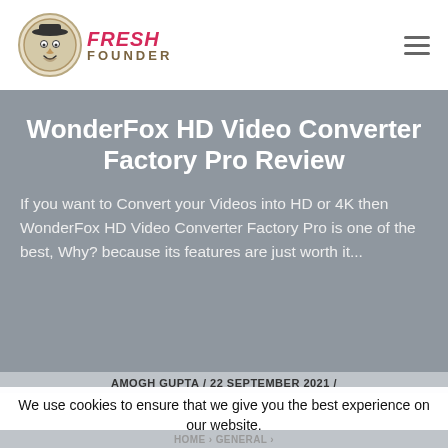[Figure (logo): Fresh Founder website logo with illustrated face icon and brand name text in pink and brown]
WonderFox HD Video Converter Factory Pro Review
If you want to Convert your Videos into HD or 4K then WonderFox HD Video Converter Factory Pro is one of the best, Why? because its features are just worth it...
AMOGH GUPTA  /  22 SEPTEMBER 2021  /
We use cookies to ensure that we give you the best experience on our website.
HOME  ›  GENERAL  ›
WONDERFOX HD VIDEO CONVERTER FACTORY PRO REVIEW